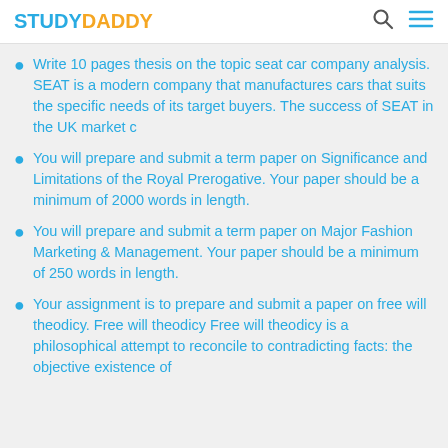STUDYDADDY
Write 10 pages thesis on the topic seat car company analysis. SEAT is a modern company that manufactures cars that suits the specific needs of its target buyers. The success of SEAT in the UK market c
You will prepare and submit a term paper on Significance and Limitations of the Royal Prerogative. Your paper should be a minimum of 2000 words in length.
You will prepare and submit a term paper on Major Fashion Marketing & Management. Your paper should be a minimum of 250 words in length.
Your assignment is to prepare and submit a paper on free will theodicy. Free will theodicy Free will theodicy is a philosophical attempt to reconcile to contradicting facts: the objective existence of